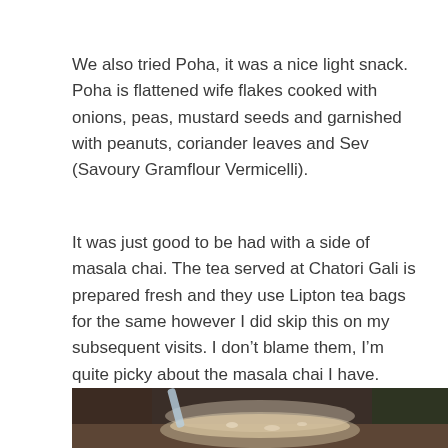We also tried Poha, it was a nice light snack. Poha is flattened wife flakes cooked with onions, peas, mustard seeds and garnished with peanuts, coriander leaves and Sev (Savoury Gramflour Vermicelli).
It was just good to be had with a side of masala chai. The tea served at Chatori Gali is prepared fresh and they use Lipton tea bags for the same however I did skip this on my subsequent visits. I don’t blame them, I’m quite picky about the masala chai I have.
[Figure (photo): A glass bowl/cup of masala chai (milky tea) with a Lipton tea bag straw or tag visible, placed on a dark wooden surface with blurred background.]